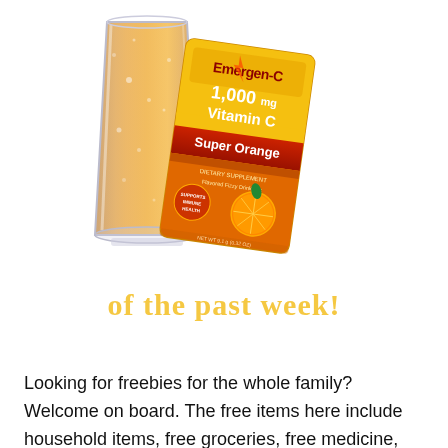[Figure (photo): A glass of fizzing orange liquid (Emergen-C drink) next to an Emergen-C 1,000 mg Vitamin C Super Orange dietary supplement packet. The packet is orange and gold with product branding and an orange fruit image.]
of the past week!
Looking for freebies for the whole family? Welcome on board. The free items here include household items, free groceries, free medicine, free baby stuff, women